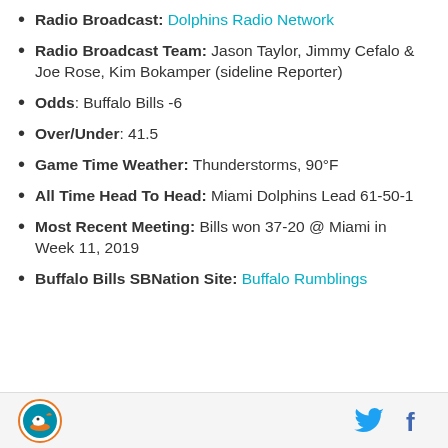Radio Broadcast: Dolphins Radio Network
Radio Broadcast Team: Jason Taylor, Jimmy Cefalo & Joe Rose, Kim Bokamper (sideline Reporter)
Odds: Buffalo Bills -6
Over/Under: 41.5
Game Time Weather: Thunderstorms, 90°F
All Time Head To Head: Miami Dolphins Lead 61-50-1
Most Recent Meeting: Bills won 37-20 @ Miami in Week 11, 2019
Buffalo Bills SBNation Site: Buffalo Rumblings
Miami Dolphins logo | Twitter | Facebook